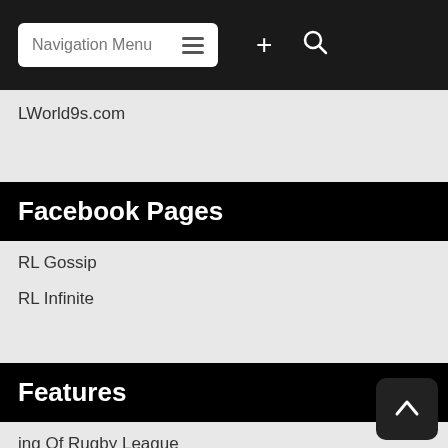Navigation Menu
LWorld9s.com
Facebook Pages
RL Gossip
RL Infinite
Features
ing Of Rugby League
ugby League Look-Alikes
iggest Winning Margins In Rugby League History